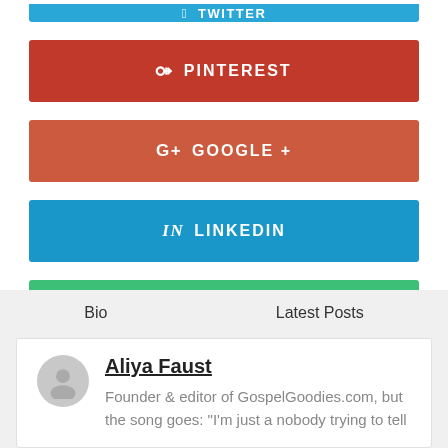[Figure (screenshot): Partial Twitter social share button (top, cut off), shown in blue]
[Figure (screenshot): Pinterest social share button, red background with pin icon]
[Figure (screenshot): Google+ social share button, orange-red background with g+ icon]
[Figure (screenshot): LinkedIn social share button, blue background with 'in' icon]
[Figure (screenshot): Email social share button, green background with envelope icon]
Bio
Latest Posts
Aliya Faust
Founder & editor of GospelGoodies.com, but the song goes: "I'm just a nobody trying to tell